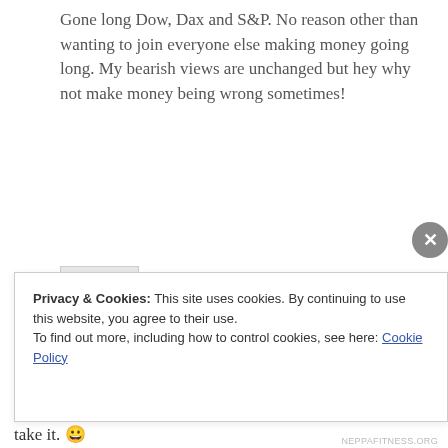Gone long Dow, Dax and S&P. No reason other than wanting to join everyone else making money going long. My bearish views are unchanged but hey why not make money being wrong sometimes!
REPLY
Jegersmart says:
November 18, 2015 at 1:23 pm
That generally happens to me a lot, as long as my stops can take it. 😀
Privacy & Cookies: This site uses cookies. By continuing to use this website, you agree to their use.
To find out more, including how to control cookies, see here: Cookie Policy
Close and accept
NEPPAFITNESS.ORG